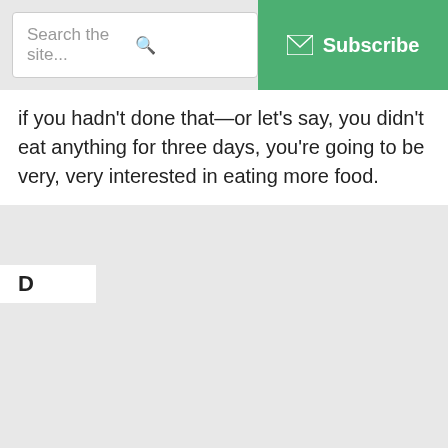Search the site...  Subscribe
if you hadn't done that—or let's say, you didn't eat anything for three days, you're going to be very, very interested in eating more food.
D
[Figure (screenshot): Modal popup with blue background showing Paleo Diet book cover, description text 'PALEO DIET Have you tried Paleo but struggled to stick with it? Try this troubleshooting guide.', email input field, and Download Now button. Close (X) button in top right corner.]